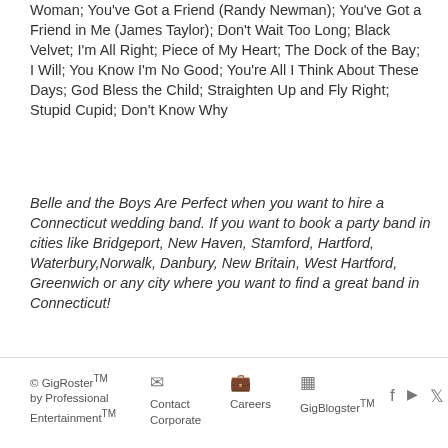Woman; You've Got a Friend (Randy Newman); You've Got a Friend in Me (James Taylor); Don't Wait Too Long; Black Velvet; I'm All Right; Piece of My Heart; The Dock of the Bay; I Will; You Know I'm No Good; You're All I Think About These Days; God Bless the Child; Straighten Up and Fly Right; Stupid Cupid; Don't Know Why
Belle and the Boys Are Perfect when you want to hire a Connecticut wedding band. If you want to book a party band in cities like Bridgeport, New Haven, Stamford, Hartford, Waterbury, Norwalk, Danbury, New Britain, West Hartford, Greenwich or any city where you want to find a great band in Connecticut!
© GigRoster™ by Professional Entertainment™   Contact Corporate   Careers   GigBlogster™